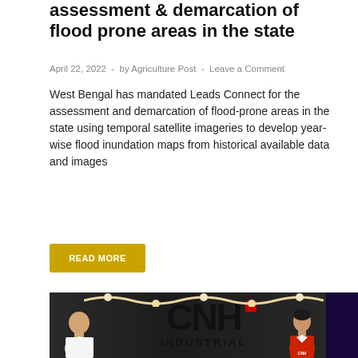assessment & demarcation of flood prone areas in the state
April 22, 2022  -  by Agriculture Post  -  Leave a Comment
West Bengal has mandated Leads Connect for the assessment and demarcation of flood-prone areas in the state using temporal satellite imageries to develop year-wise flood inundation maps from historical available data and images
READ MORE
[Figure (photo): Two people standing in front of a CNH Industrial logo/sign with floral garland decorations. A tall bald man in a white shirt on the left, and a woman in a red CNH branded jacket on the right.]